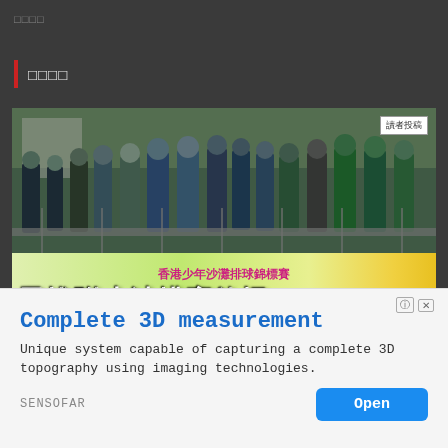□□□□
□□□□
[Figure (photo): Group photo of people wearing masks at a youth beach volleyball championship event. Banner in background reads 香港少年沙灘排球錦標賽. Overlay text reads 男拔附小沙排賽飲恨 and 明年捲土重來. Date shown: June 28, 2022. Reader submission badge in top right corner.]
June 28, 2022 / □□
Complete 3D measurement
Unique system capable of capturing a complete 3D topography using imaging technologies.
SENSOFAR
Open